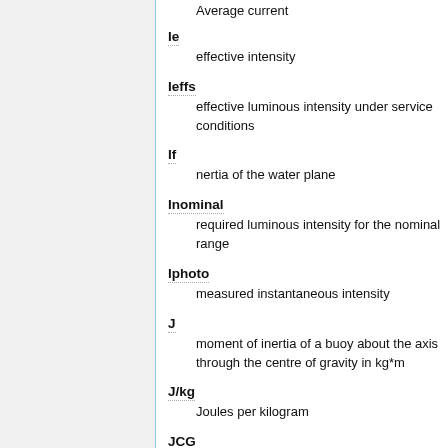Average current
Ie
effective intensity
Ieffs
effective luminous intensity under service conditions
If
nertia of the water plane
Inominal
required luminous intensity for the nominal range
Iphoto
measured instantaneous intensity
J
moment of inertia of a buoy about the axis through the centre of gravity in kg*m
J/kg
Joules per kilogram
JCG